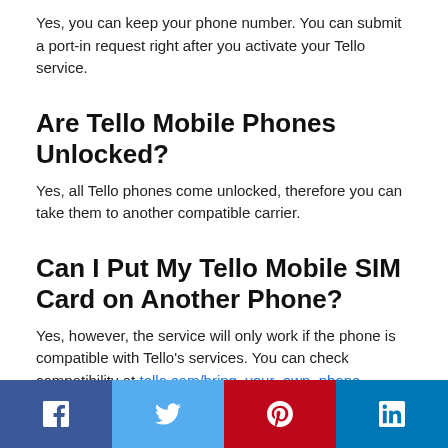Yes, you can keep your phone number. You can submit a port-in request right after you activate your Tello service.
Are Tello Mobile Phones Unlocked?
Yes, all Tello phones come unlocked, therefore you can take them to another compatible carrier.
Can I Put My Tello Mobile SIM Card on Another Phone?
Yes, however, the service will only work if the phone is compatible with Tello's services. You can check compatibility at tello.com/bring_your_own_phone.
[Figure (other): Social share buttons: Facebook, Twitter, Pinterest, LinkedIn]